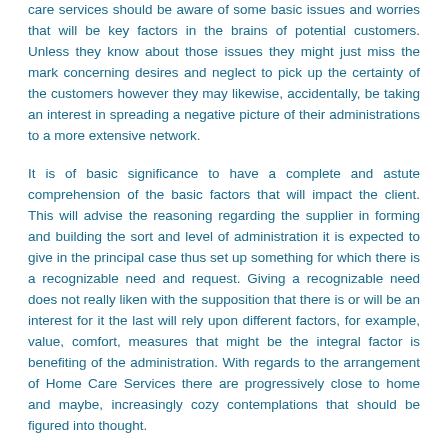care services should be aware of some basic issues and worries that will be key factors in the brains of potential customers. Unless they know about those issues they might just miss the mark concerning desires and neglect to pick up the certainty of the customers however they may likewise, accidentally, be taking an interest in spreading a negative picture of their administrations to a more extensive network.
It is of basic significance to have a complete and astute comprehension of the basic factors that will impact the client. This will advise the reasoning regarding the supplier in forming and building the sort and level of administration it is expected to give in the principal case thus set up something for which there is a recognizable need and request. Giving a recognizable need does not really liken with the supposition that there is or will be an interest for it the last will rely upon different factors, for example, value, comfort, measures that might be the integral factor is benefiting of the administration. With regards to the arrangement of Home Care Services there are progressively close to home and maybe, increasingly cozy contemplations that should be figured into thought.